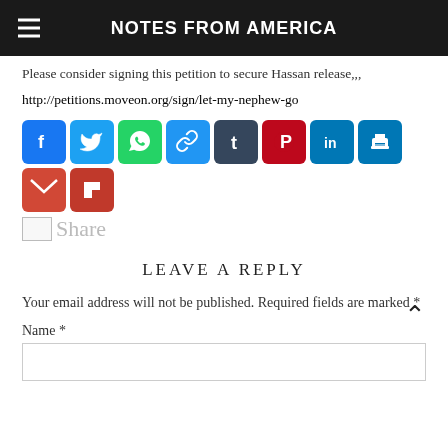NOTES FROM AMERICA
Please consider signing this petition to secure Hassan release,,,
http://petitions.moveon.org/sign/let-my-nephew-go
[Figure (other): Row of social media share buttons: Facebook (blue), Twitter (blue), WhatsApp (green), Link (blue), Tumblr (dark slate), Pinterest (red), LinkedIn (blue), Print (blue), Gmail (red), Flipboard (red). Below: broken image icon and 'Share' text in gray.]
LEAVE A REPLY
Your email address will not be published. Required fields are marked *
Name *